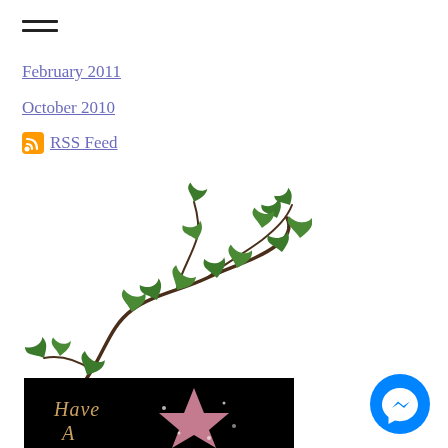[Figure (other): Hamburger menu icon (three horizontal lines)]
February 2011
October 2010
RSS Feed
[Figure (illustration): Decorative illustration of a vine/ivy branch with green leaves on a white background]
[Figure (photo): Partial photo showing 'Have A' text in script on a black background with a pink glittery star shape]